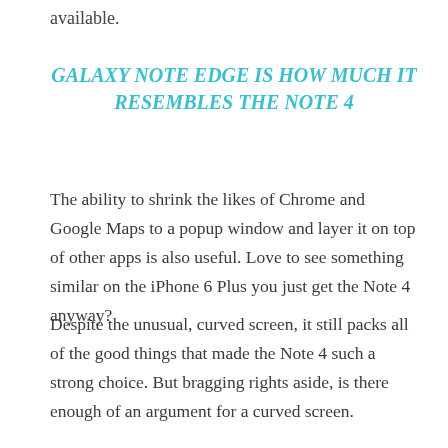available.
GALAXY NOTE EDGE IS HOW MUCH IT RESEMBLES THE NOTE 4
The ability to shrink the likes of Chrome and Google Maps to a popup window and layer it on top of other apps is also useful. Love to see something similar on the iPhone 6 Plus you just get the Note 4 anyway?
Despite the unusual, curved screen, it still packs all of the good things that made the Note 4 such a strong choice. But bragging rights aside, is there enough of an argument for a curved screen.